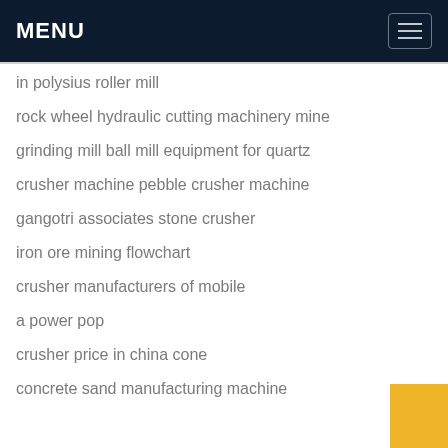MENU
in polysius roller mill
rock wheel hydraulic cutting machinery mine
grinding mill ball mill equipment for quartz
crusher machine pebble crusher machine
gangotri associates stone crusher
iron ore mining flowchart
crusher manufacturers of mobile
a power pop
crusher price in china cone
concrete sand manufacturing machine